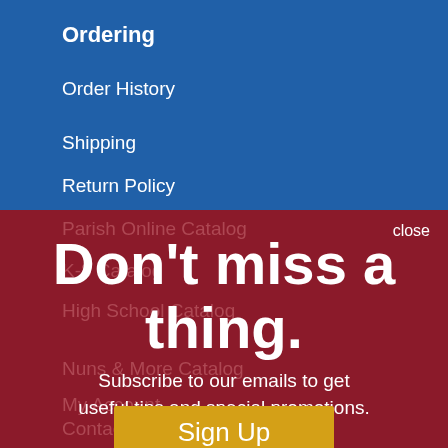Ordering
Order History
Shipping
Return Policy
Parish Online Catalog
K-8 Catalog
High School Catalog
Nuns & More Catalog
My Account
Contact Us
close
Don't miss a thing.
Subscribe to our emails to get useful tips and special promotions.
Sign Up